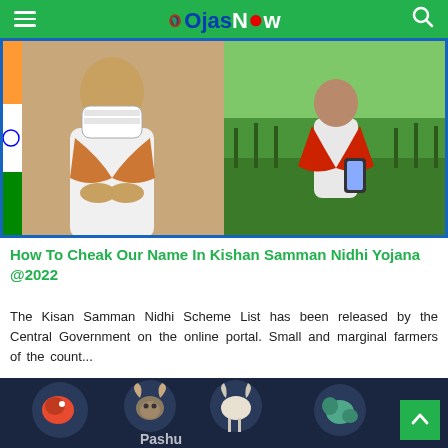OjasNow
[Figure (photo): Two-panel photo: left shows a man in white clothes with folded hands and a mask, right shows an elderly farmer in a field with a red scarf.]
How To Cheak Our Name In Kishan Samman Nidhi Yojana @2022
The Kisan Samman Nidhi Scheme List has been released by the Central Government on the online portal. Small and marginal farmers of the count...
[Figure (illustration): Dark navy background with circular illustrations of animals including fish, ram/goat, bull, and other animals, with partial text at bottom reading 'Pashur' or similar.]